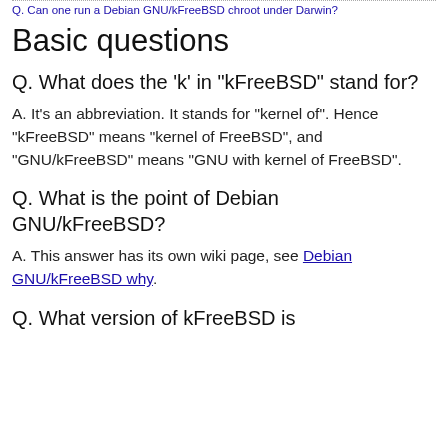Q. Can one run a Debian GNU/kFreeBSD chroot under Darwin?
Basic questions
Q. What does the 'k' in "kFreeBSD" stand for?
A. It's an abbreviation. It stands for "kernel of". Hence "kFreeBSD" means "kernel of FreeBSD", and "GNU/kFreeBSD" means "GNU with kernel of FreeBSD".
Q. What is the point of Debian GNU/kFreeBSD?
A. This answer has its own wiki page, see Debian GNU/kFreeBSD why.
Q. What version of kFreeBSD is